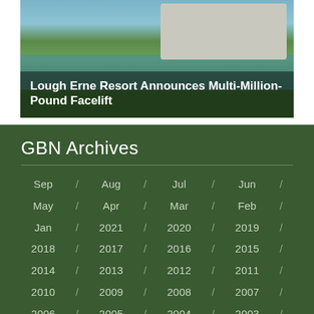[Figure (photo): Golf course photo with two golfers on a fairway, a water feature, and residential buildings in the background, with an overlay caption reading 'Lough Erne Resort Announces Multi-Million-Pound Facelift']
Lough Erne Resort Announces Multi-Million-Pound Facelift
GBN Archives
Sep / Aug / Jul / Jun / May / Apr / Mar / Feb / Jan / 2021 / 2020 / 2019 / 2018 / 2017 / 2016 / 2015 / 2014 / 2013 / 2012 / 2011 / 2010 / 2009 / 2008 / 2007 / 2006 / 2005 / 2004 / 2003 /